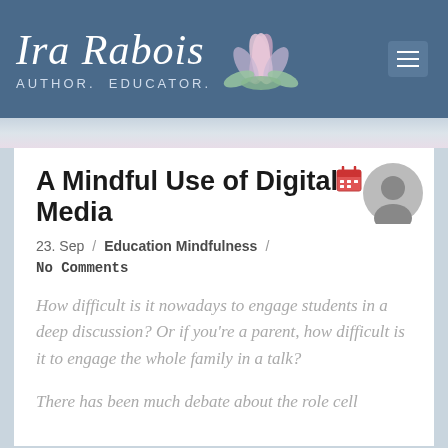Ira Rabois AUTHOR. EDUCATOR.
A Mindful Use of Digital Media
23. Sep / Education Mindfulness / No Comments
How difficult is it nowadays to engage students in a deep discussion? Or if you're a parent, how difficult is it to engage the whole family in a talk?
There has been much debate about the role cell